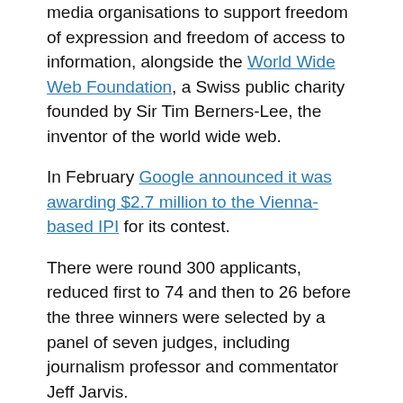media organisations to support freedom of expression and freedom of access to information, alongside the World Wide Web Foundation, a Swiss public charity founded by Sir Tim Berners-Lee, the inventor of the world wide web.
In February Google announced it was awarding $2.7 million to the Vienna-based IPI for its contest.
There were round 300 applicants, reduced first to 74 and then to 26 before the three winners were selected by a panel of seven judges, including journalism professor and commentator Jeff Jarvis.
The winners of the total fund of $600,000 were announced yesterday; Nel heard this morning how much the MADE project is being allocated, telling Journalism.co.uk “it’s fantastic to have support for news innovations”.
Nel and others working on the Leaders Programme have